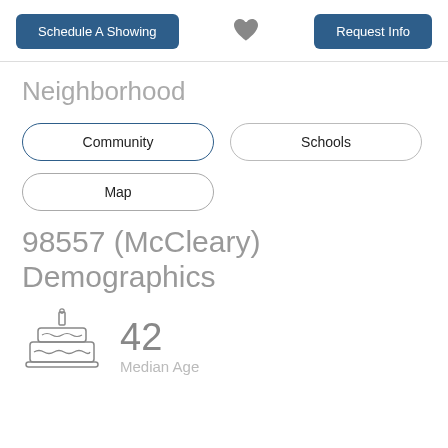Schedule A Showing | [heart] | Request Info
Neighborhood
Community
Schools
Map
98557 (McCleary) Demographics
[Figure (illustration): Birthday cake icon with a single candle, line art style]
42
Median Age